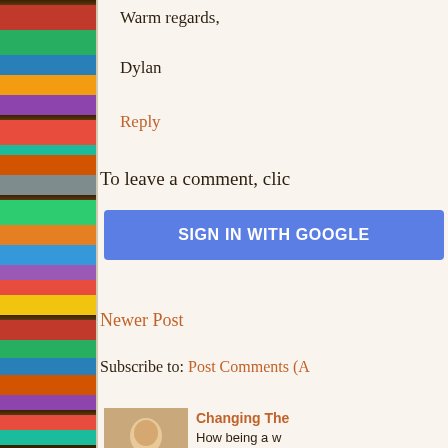[Figure (photo): Bookshelf with colorful books on wooden shelves, serving as a decorative sidebar]
Warm regards,
Dylan
Reply
To leave a comment, clic
SIGN IN WITH GOOGLE
Newer Post
Subscribe to: Post Comments (A
[Figure (photo): Man in white tank top and sunglasses standing outdoors]
Changing The
How being a w common com:
[Figure (photo): MEANW logo image with outdoor scene]
Facebook Co
Well....it final